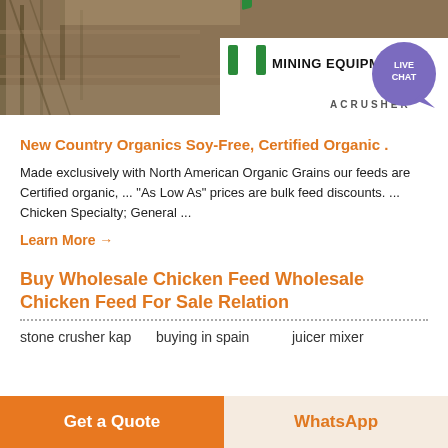[Figure (photo): Mining/industrial site photo with MINING EQUIPMENT ACRUSHER logo overlay and LIVE CHAT button]
New Country Organics Soy-Free, Certified Organic .
Made exclusively with North American Organic Grains our feeds are Certified organic, ... "As Low As" prices are bulk feed discounts. ... Chicken Specialty; General ...
Learn More →
Buy Wholesale Chicken Feed Wholesale Chicken Feed For Sale Relation
stone crusher kap    buying in spain    juicer mixer
Get a Quote    WhatsApp